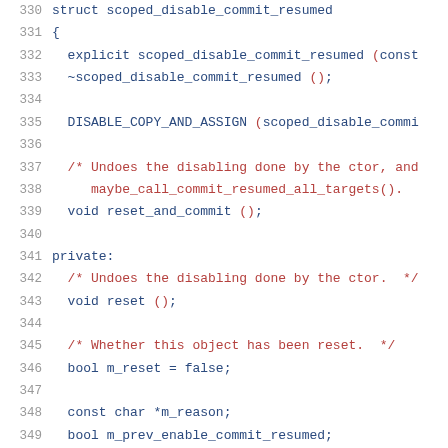[Figure (screenshot): Source code listing showing lines 330-350 of a C++ file defining a struct 'scoped_disable_commit_resumed' with constructor, destructor, methods, and private member variables.]